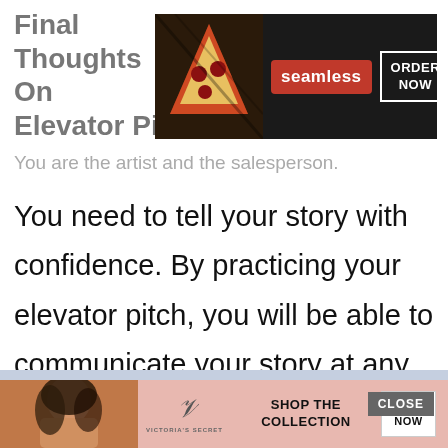Final Thoughts On Elevator Pi...
[Figure (screenshot): Seamless food delivery advertisement banner showing pizza and ORDER NOW button]
You are the artist and the salesperson.
You need to tell your story with confidence. By practicing your elevator pitch, you will be able to communicate your story at any given time. You want to take advantage of every opportunity.
You might also be interested i...
[Figure (screenshot): Victoria's Secret advertisement banner with SHOP THE COLLECTION and SHOP NOW button]